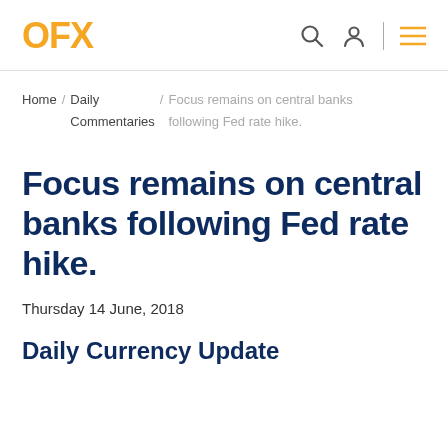OFX
Home / Daily Commentaries / Focus remains on central banks following Fed rate hike.
Focus remains on central banks following Fed rate hike.
Thursday 14 June, 2018
Daily Currency Update